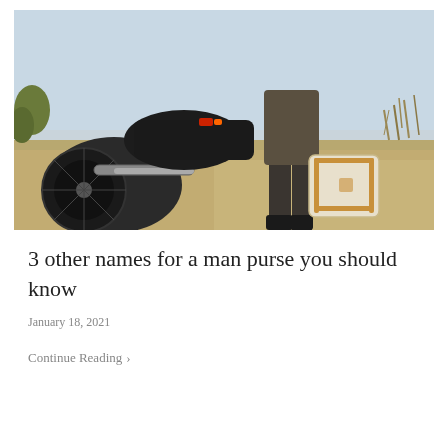[Figure (photo): A person standing next to a motorcycle on dry grassy terrain, holding a cream/beige colored bag with tan leather straps. The motorcycle is dark colored and parked on a hillside. Clear sky in background.]
3 other names for a man purse you should know
January 18, 2021
Continue Reading  ›